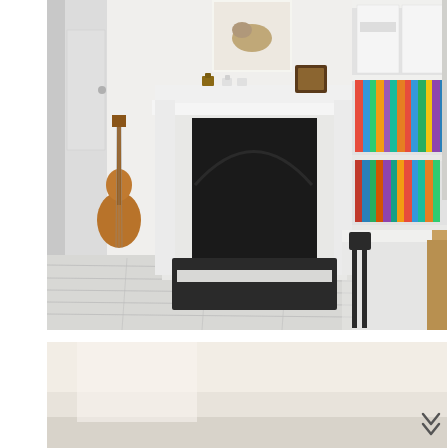[Figure (photo): Interior photo of a child's room with a white painted fireplace surround, black cast iron fireplace insert, painted white floorboards with a dark hearth mat, a guitar hanging on the left wall, colorful books on a white shelf unit to the right, storage boxes on top of the shelves, a small black metal chair, a white desk/table, wooden furniture on the right, and small decorative animal figurines on the mantelpiece along with a framed picture. A poster hangs above the fireplace.]
[Figure (photo): Partial view of a bright white/cream interior room, slightly blurred or out of focus, forming the bottom portion of the page. An upward double-chevron arrow icon is visible in the lower right.]